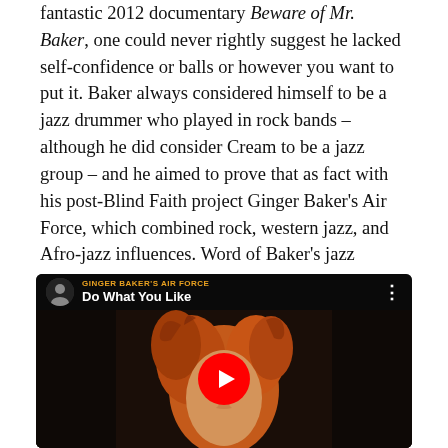fantastic 2012 documentary Beware of Mr. Baker, one could never rightly suggest he lacked self-confidence or balls or however you want to put it. Baker always considered himself to be a jazz drummer who played in rock bands – although he did consider Cream to be a jazz group – and he aimed to prove that as fact with his post-Blind Faith project Ginger Baker's Air Force, which combined rock, western jazz, and Afro-jazz influences. Word of Baker's jazz bravado seeped into the jazz scene.
[Figure (screenshot): YouTube video embed showing 'Do What You Like' by Ginger Baker's Air Force, with a thumbnail of a face with curly red/orange hair and a red YouTube play button in the center.]